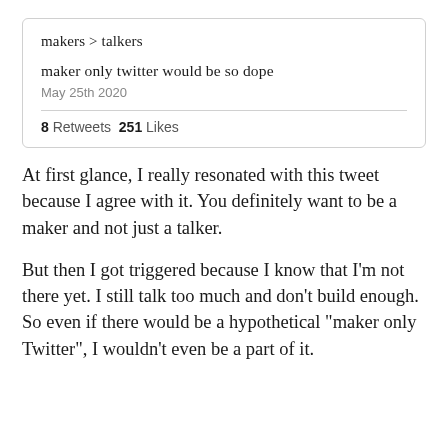[Figure (screenshot): Tweet screenshot showing 'makers > talkers' as title, 'maker only twitter would be so dope' as tweet text, dated May 25th 2020, with 8 Retweets and 251 Likes]
At first glance, I really resonated with this tweet because I agree with it. You definitely want to be a maker and not just a talker.
But then I got triggered because I know that I'm not there yet. I still talk too much and don't build enough. So even if there would be a hypothetical "maker only Twitter", I wouldn't even be a part of it.